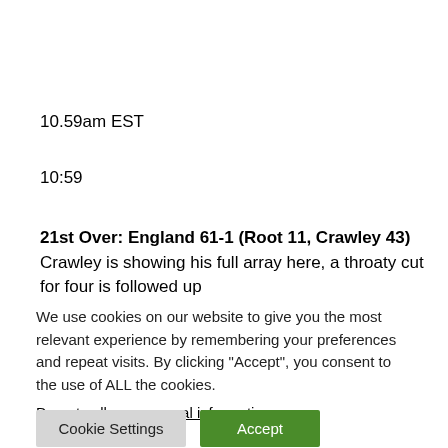10.59am EST
10:59
21st Over: England 61-1 (Root 11, Crawley 43) Crawley is showing his full array here, a throaty cut for four is followed up
We use cookies on our website to give you the most relevant experience by remembering your preferences and repeat visits. By clicking “Accept”, you consent to the use of ALL the cookies.
Do not sell my personal information.